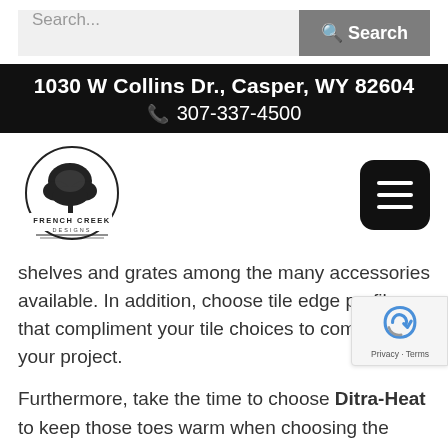[Figure (screenshot): Search bar with input field showing 'Search...' placeholder and a gray Search button with magnifying glass icon]
1030 W Collins Dr., Casper, WY 82604
☎ 307-337-4500
[Figure (logo): French Creek Designs circular logo with tree illustration]
[Figure (other): Black rounded square hamburger menu icon with three horizontal white lines]
shelves and grates among the many accessories available. In addition, choose tile edge profiles that compliment your tile choices to complete your project.
Furthermore, take the time to choose Ditra-Heat to keep those toes warm when choosing the beauty and durability of stone, floor tile, or resilient floor coverings (WPC, LVT, LVP, etc.,) in